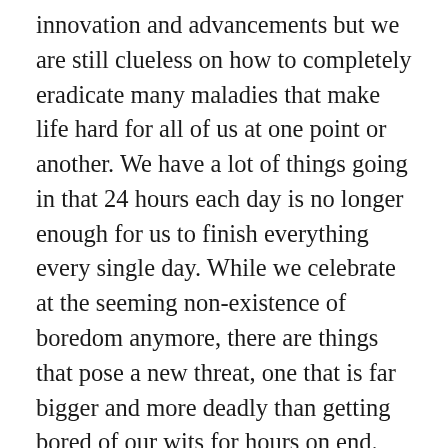innovation and advancements but we are still clueless on how to completely eradicate many maladies that make life hard for all of us at one point or another. We have a lot of things going in that 24 hours each day is no longer enough for us to finish everything every single day. While we celebrate at the seeming non-existence of boredom anymore, there are things that pose a new threat, one that is far bigger and more deadly than getting bored of our wits for hours on end. Our addiction to technology has opened up a whole new world of possibilities and helped keep us entertained 24/7 but it has also deprived us of precious sleep. As a result, we